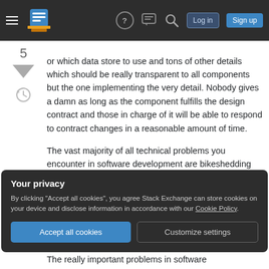Stack Exchange navigation bar with hamburger menu, logo, help, chat, search, Log in, Sign up
or which data store to use and tons of other details which should be really transparent to all components but the one implementing the very detail. Nobody gives a damn as long as the component fulfills the design contract and those in charge of it will be able to respond to contract changes in a reasonable amount of time.
The vast majority of all technical problems you encounter in software development are bikeshedding problems. Simply because they
Your privacy
By clicking "Accept all cookies", you agree Stack Exchange can store cookies on your device and disclose information in accordance with our Cookie Policy.
The really important problems in software